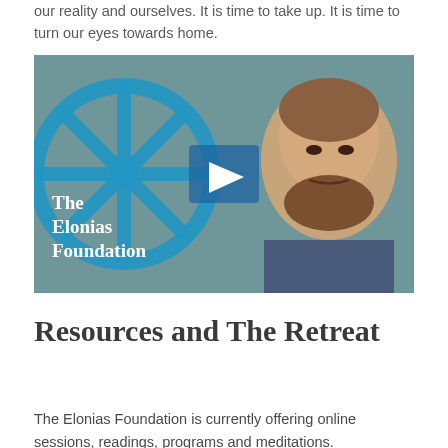our reality and ourselves. It is time to take up. It is time to turn our eyes towards home.
[Figure (photo): Video thumbnail showing a man with beard and a blue wheel/compass logo for The Elonias Foundation, with a play button in the center.]
Resources and The Retreat
The Elonias Foundation is currently offering online sessions, readings, programs and meditations.